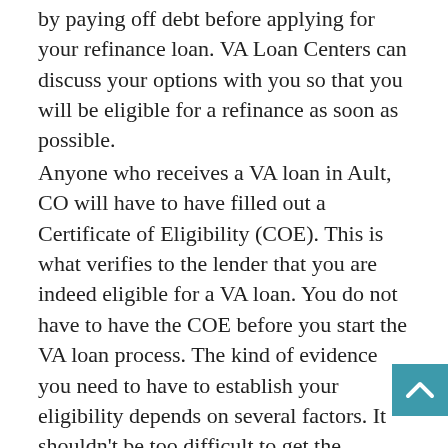by paying off debt before applying for your refinance loan. VA Loan Centers can discuss your options with you so that you will be eligible for a refinance as soon as possible.
Anyone who receives a VA loan in Ault, CO will have to have filled out a Certificate of Eligibility (COE). This is what verifies to the lender that you are indeed eligible for a VA loan. You do not have to have the COE before you start the VA loan process. The kind of evidence you need to have to establish your eligibility depends on several factors. It shouldn't be too difficult to get the required information and fill out the form. We will help you with the COE process, if desired. For those with sufficient data in the VA's system, lenders can establish and issue a COE in just a few minutes. If you prefer, you have several other